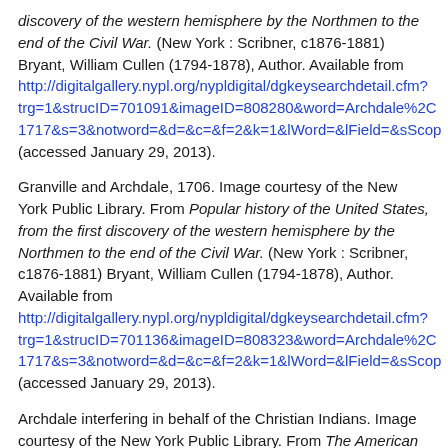discovery of the western hemisphere by the Northmen to the end of the Civil War. (New York : Scribner, c1876-1881) Bryant, William Cullen (1794-1878), Author. Available from http://digitalgallery.nypl.org/nypldigital/dgkeysearchdetail.cfm?trg=1&strucID=701091&imageID=808280&word=Archdale%2C1717&s=3&notword=&d=&c=&f=2&k=1&lWord=&lField=&sScop (accessed January 29, 2013).
Granville and Archdale, 1706. Image courtesy of the New York Public Library. From Popular history of the United States, from the first discovery of the western hemisphere by the Northmen to the end of the Civil War. (New York : Scribner, c1876-1881) Bryant, William Cullen (1794-1878), Author. Available from http://digitalgallery.nypl.org/nypldigital/dgkeysearchdetail.cfm?trg=1&strucID=701136&imageID=808323&word=Archdale%2C1717&s=3&notword=&d=&c=&f=2&k=1&lWord=&lField=&sScop (accessed January 29, 2013).
Archdale interfering in behalf of the Christian Indians. Image courtesy of the New York Public Library. From The American continent and its inhabitants before its discovery by Columbus : also the story of its invasion, foreign, European and English colonization...